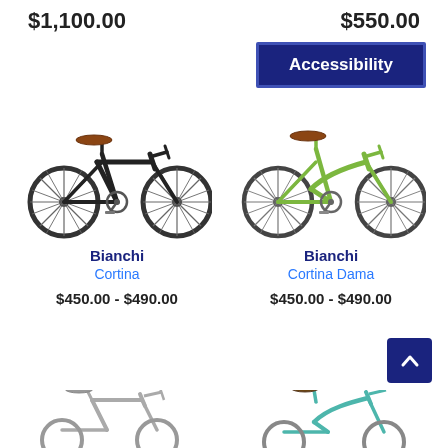$1,100.00
$550.00
Accessibility
[Figure (photo): Black Bianchi Cortina hybrid bicycle facing right]
[Figure (photo): Green Bianchi Cortina Dama hybrid bicycle facing right]
Bianchi
Cortina
Bianchi
Cortina Dama
$450.00 - $490.00
$450.00 - $490.00
[Figure (photo): Partial view of a bicycle at bottom left]
[Figure (photo): Partial view of a bicycle at bottom right]